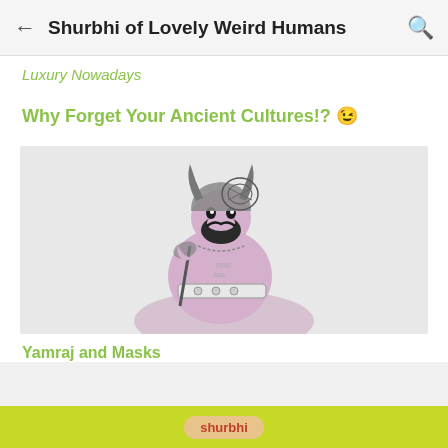Shurbhi of Lovely Weird Humans
Luxury Nowadays
Why Forget Your Ancient Cultures!? 😊
[Figure (illustration): Illustration of Yamraj (Hindu deity of death) depicted as a warrior figure with horned helmet, dark beard and mustache, holding a staff, wearing armor belt, with a large cape. Drawn in a sketch/comic style with muted purple/pink tones on a light gray background.]
Yamraj and Masks
shurbhi